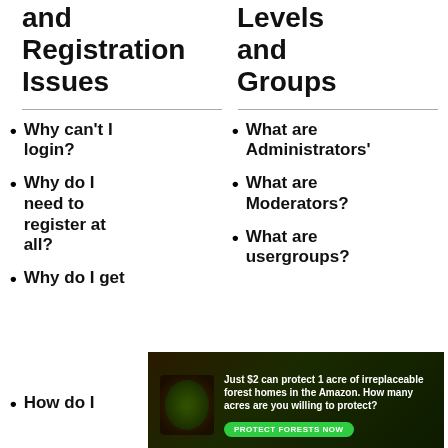and Registration Issues
Levels and Groups
Why can't I login?
What are Administrators'
Why do I need to register at all?
What are Moderators?
Why do I get
What are usergroups?
[Figure (infographic): Advertisement banner: Just $2 can protect 1 acre of irreplaceable forest homes in the Amazon. How many acres are you willing to protect? PROTECT FORESTS NOW]
usergroups and how do I
How do I